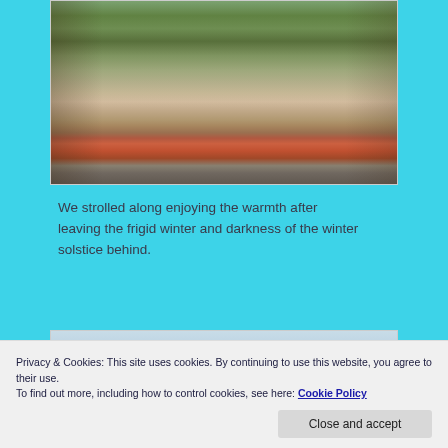[Figure (photo): Street scene with people walking along a pedestrian street with shops, trees, and a red carpet/awning visible.]
We strolled along enjoying the warmth after leaving the frigid winter and darkness of the winter solstice behind.
[Figure (photo): Outdoor scene with lamp posts against a blue sky, with the Sydney Opera House and bridge visible in the background.]
Privacy & Cookies: This site uses cookies. By continuing to use this website, you agree to their use.
To find out more, including how to control cookies, see here: Cookie Policy
including the legendary Sydney Opera House and bridge.